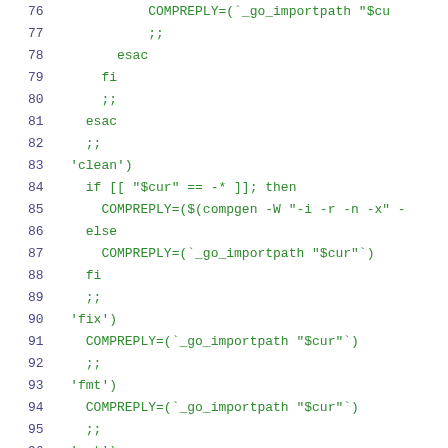[Figure (screenshot): Source code listing (shell script) showing lines 76-96 with line numbers in dark blue/purple and code in green monospace font. Lines include bash case/esac constructs, COMPREPLY assignments, and string pattern matching.]